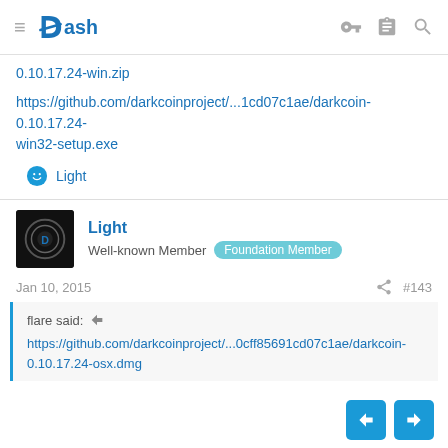Dash
0.10.17.24-win.zip
https://github.com/darkcoinproject/...1cd07c1ae/darkcoin-0.10.17.24-win32-setup.exe
Light (reaction)
Light
Well-known Member  Foundation Member
Jan 10, 2015  #143
flare said: ↑
https://github.com/darkcoinproject/...0cff85691cd07c1ae/darkcoin-0.10.17.24-osx.dmg